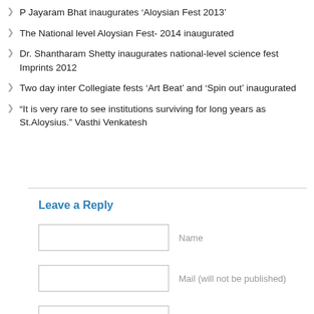P Jayaram Bhat inaugurates ‘Aloysian Fest 2013’
The National level Aloysian Fest- 2014 inaugurated
Dr. Shantharam Shetty inaugurates national-level science fest Imprints 2012
Two day inter Collegiate fests ‘Art Beat’ and ‘Spin out’ inaugurated
“It is very rare to see institutions surviving for long years as St.Aloysius.” Vasthi Venkatesh
Leave a Reply
Name
Mail (will not be published)
Native Place